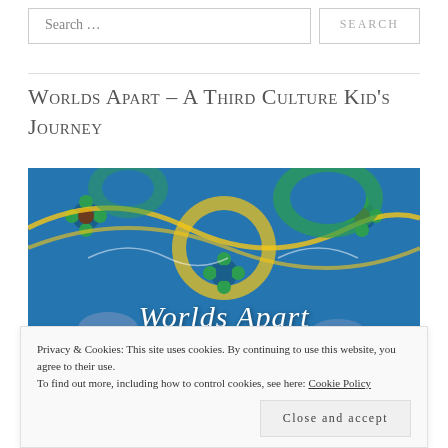Search …
SEARCH
Worlds Apart – A Third Culture Kid's Journey
[Figure (photo): Book cover image showing decorative blue Islamic tile pattern with floral motifs in green and yellow, with italic white text 'Worlds Apart' overlaid at the bottom.]
Privacy & Cookies: This site uses cookies. By continuing to use this website, you agree to their use. To find out more, including how to control cookies, see here: Cookie Policy
Close and accept